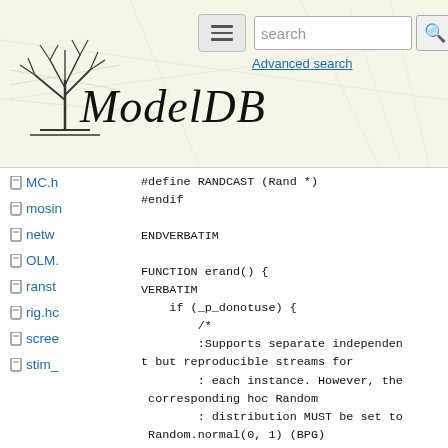[Figure (logo): ModelDB website header with logo (tree/neuron illustration), hamburger menu, search bar, and ModelDB title in italic serif font]
MC.h
mosin
netw
OLM.
ranst
rig.hc
scree
stim_
#define RANDCAST (Rand *)
#endif

ENDVERBATIM

FUNCTION erand() {
VERBATIM
    if (_p_donotuse) {
        /*
        :Supports separate independent but reproducible streams for
        : each instance. However, the corresponding hoc Random
        : distribution MUST be set to Random.normal(0, 1) (BPG)
        */
        _lerand = nrn_random_pick(RANDCAST _p_donotuse);
    }else{
ENDVERBATIM
              : the old standby. Cannot use